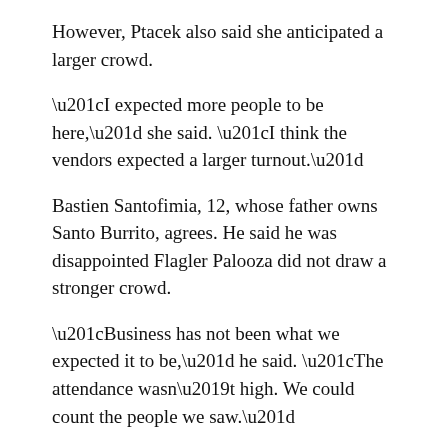However, Ptacek also said she anticipated a larger crowd.
“I expected more people to be here,” she said. “I think the vendors expected a larger turnout.”
Bastien Santofimia, 12, whose father owns Santo Burrito, agrees. He said he was disappointed Flagler Palooza did not draw a stronger crowd.
“Business has not been what we expected it to be,” he said. “The attendance wasn’t high. We could count the people we saw.”
Santo Burrito employee Seth Teston, 21, said Flagler Palooza vendors, including Santo Burrito, paid a $50 vendor fee. He said that they did not get their money’s worth.